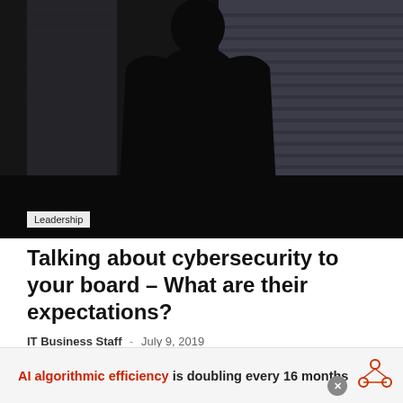[Figure (photo): Silhouette of a person in a suit standing with their back to the camera, looking out through a window with horizontal blinds. The image is very dark/high contrast.]
Leadership
Talking about cybersecurity to your board – What are their expectations?
IT Business Staff  -  July 9, 2019
AI algorithmic efficiency is doubling every 16 months